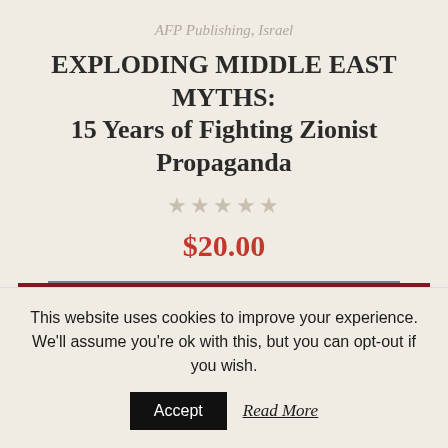AFP Publishing, Israel
EXPLODING MIDDLE EAST MYTHS: 15 Years of Fighting Zionist Propaganda
★★★★★
$20.00
🛒 Quick View
This website uses cookies to improve your experience. We'll assume you're ok with this, but you can opt-out if you wish.
Accept Read More